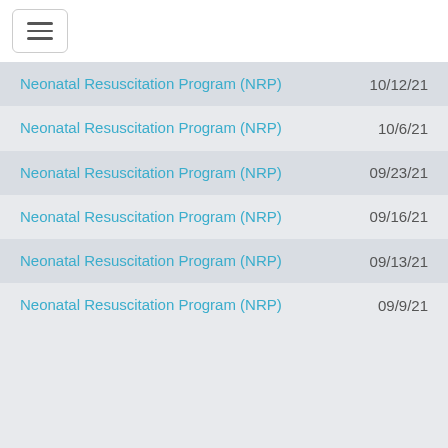[Figure (screenshot): Navigation hamburger menu button in white header bar]
Neonatal Resuscitation Program (NRP)  10/12/21
Neonatal Resuscitation Program (NRP)  10/6/21
Neonatal Resuscitation Program (NRP)  09/23/21
Neonatal Resuscitation Program (NRP)  09/16/21
Neonatal Resuscitation Program (NRP)  09/13/21
Neonatal Resuscitation Program (NRP)  09/9/21